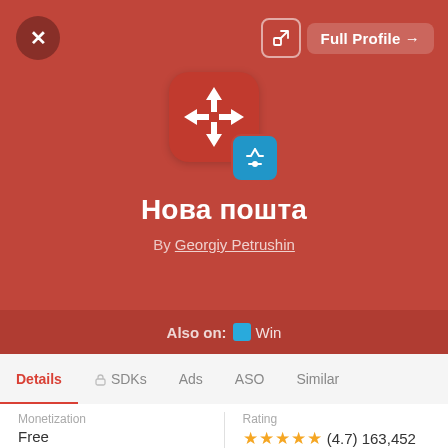[Figure (screenshot): App profile card for 'Нова пошта' (Nova Poshta) iOS app. Red background with app icon (red rounded square with white H and directional arrows, overlaid with blue App Store badge). Title in Ukrainian, developer name Georgiy Petrushin, Also on: Win section, tabs: Details, SDKs, Ads, ASO, Similar. Bottom: Monetization=Free, Rating=★★★★★ (4.7) 163,452]
Нова пошта
By Georgiy Petrushin
Also on:  Win
Details
SDKs
Ads
ASO
Similar
| Monetization | Rating |
| --- | --- |
| Free | ★★★★★ (4.7) 163,452 |